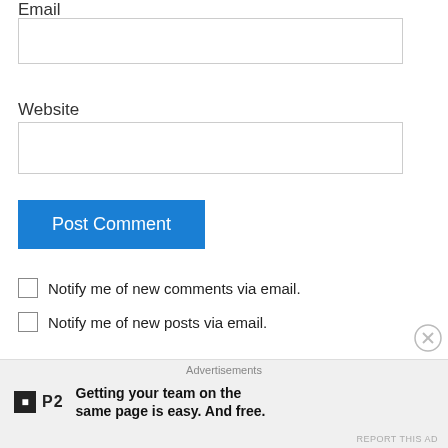Email
[Figure (other): Empty email input text field]
Website
[Figure (other): Empty website input text field]
[Figure (other): Post Comment blue button]
Notify me of new comments via email.
Notify me of new posts via email.
This site uses Akismet to reduce spam. Learn how your comment data is processed.
Advertisements
Getting your team on the same page is easy. And free.